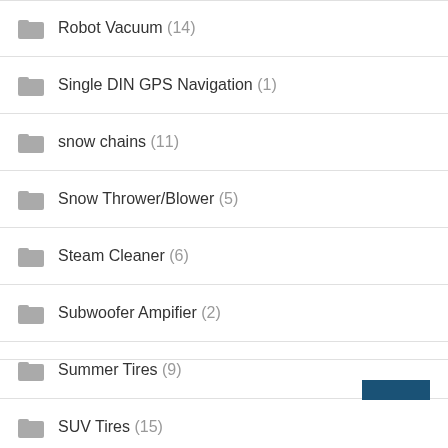Robot Vacuum (14)
Single DIN GPS Navigation (1)
snow chains (11)
Snow Thrower/Blower (5)
Steam Cleaner (6)
Subwoofer Ampifier (2)
Summer Tires (9)
SUV Tires (15)
Tire Inflator (4)
Tires (48)